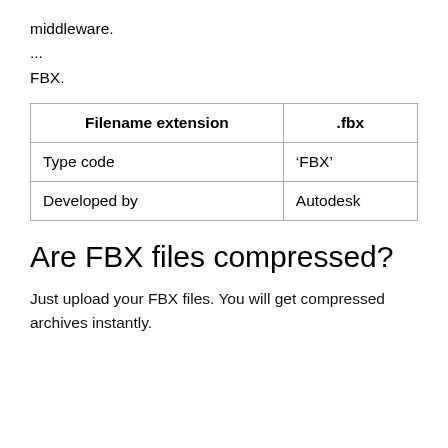middleware.
...
FBX.
| Filename extension | .fbx |
| --- | --- |
| Type code | ‘FBX’ |
| Developed by | Autodesk |
Are FBX files compressed?
Just upload your FBX files. You will get compressed archives instantly.